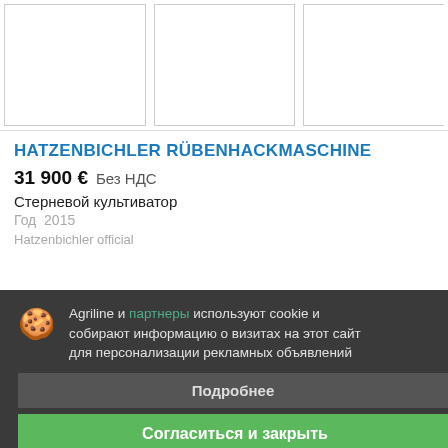[Figure (photo): Three product image thumbnails (white/blank placeholders) shown side by side at the top of the listing page.]
HATZENBICHLER RÜBENHACKMASCHINE
31 900 €  Без НДС
Стерневой культиватор
Год  2015
Agriline и партнеры используют cookie и собирают информацию о визитах на этот сайт для персонализации рекламных объявлений
Подробнее
Согласиться и закрыть